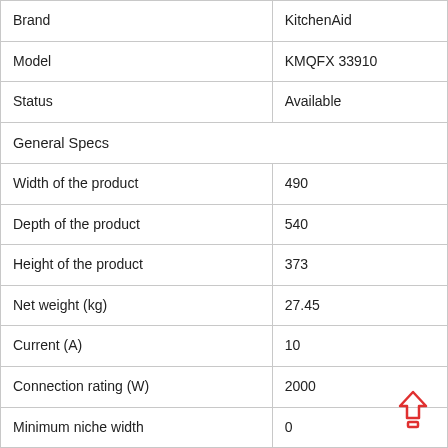| Brand | KitchenAid |
| Model | KMQFX 33910 |
| Status | Available |
| General Specs |  |
| Width of the product | 490 |
| Depth of the product | 540 |
| Height of the product | 373 |
| Net weight (kg) | 27.45 |
| Current (A) | 10 |
| Connection rating (W) | 2000 |
| Minimum niche width | 0 |
| Minimum niche height | 0 |
| Length of electrical supply cord (cm) | 100 |
| Cavity width | 395 |
| EAN number | 8003437801638 |